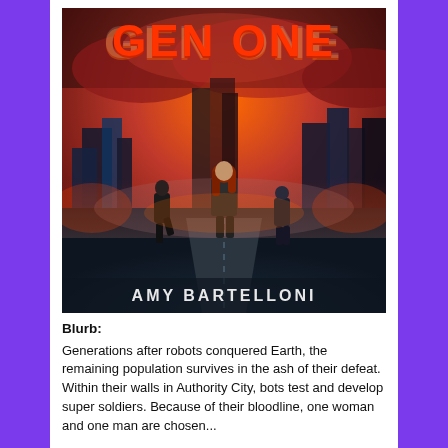[Figure (illustration): Book cover for 'GEN ONE' by Amy Bartelloni. Shows three figures walking away down a road toward a dystopian city skyline under a red/orange apocalyptic sky. Title 'GEN ONE' in large glowing letters at top, author name 'AMY BARTELLONI' at bottom.]
Blurb: Generations after robots conquered Earth, the remaining population survives in the ash of their defeat. Within their walls in Authority City, bots test and develop super soldiers. Because of their bloodline, one woman and one man are chosen...